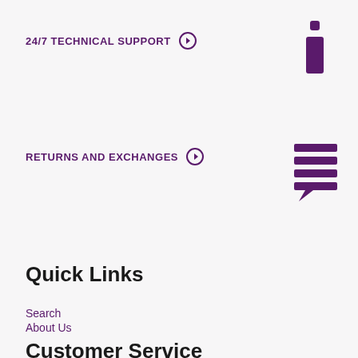24/7 TECHNICAL SUPPORT ❯
[Figure (illustration): Purple info icon — letter i with a dot above, bold serif style]
RETURNS AND EXCHANGES ❯
[Figure (illustration): Purple chat/message icon — stacked horizontal lines in a speech bubble]
Quick Links
Search
About Us
Customer Service
SUHAIM
About
Contact Us
SWING Multiplier